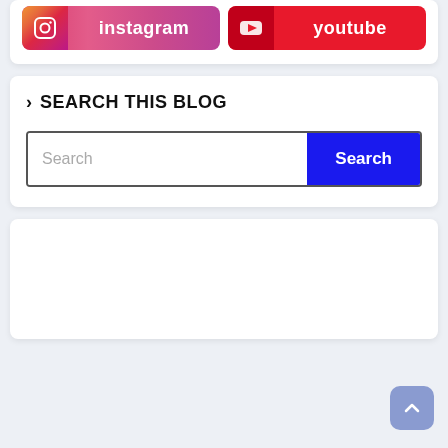[Figure (screenshot): Social media buttons for Instagram and YouTube at the top of a blog sidebar widget]
> SEARCH THIS BLOG
[Figure (screenshot): Search input box with a blue Search button]
[Figure (screenshot): Empty white card section at the bottom]
[Figure (other): Back to top button in the bottom right corner]